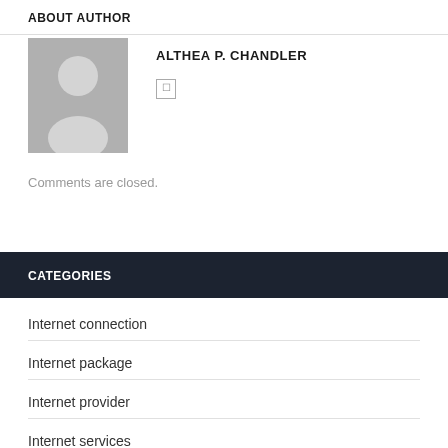ABOUT AUTHOR
[Figure (illustration): Generic author avatar silhouette on grey background]
ALTHEA P. CHANDLER
Comments are closed.
CATEGORIES
Internet connection
Internet package
Internet provider
Internet services